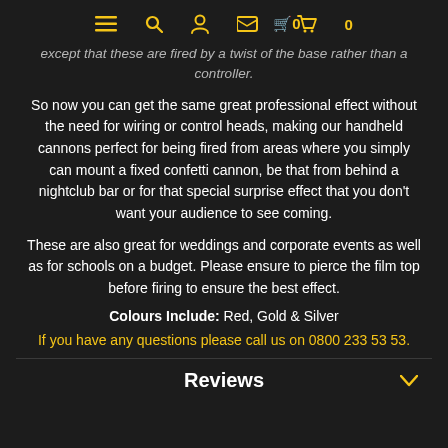≡ 🔍 👤 🛒 0
except that these are fired by a twist of the base rather than a controller.
So now you can get the same great professional effect without the need for wiring or control heads, making our handheld cannons perfect for being fired from areas where you simply can mount a fixed confetti cannon, be that from behind a nightclub bar or for that special surprise effect that you don't want your audience to see coming.
These are also great for weddings and corporate events as well as for schools on a budget. Please ensure to pierce the film top before firing to ensure the best effect.
Colours Include: Red, Gold & Silver
If you have any questions please call us on 0800 233 53 53.
Reviews